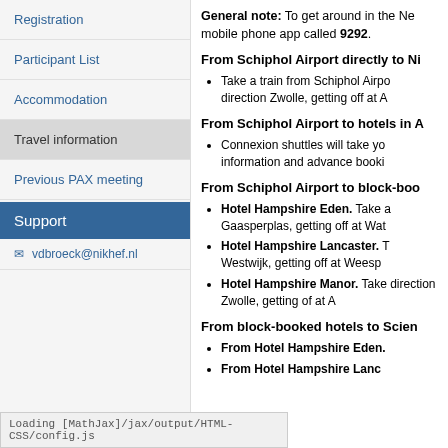Registration
Participant List
Accommodation
Travel information
Previous PAX meeting
Support
vdbroeck@nikhef.nl
General note: To get around in the Ne mobile phone app called 9292.
From Schiphol Airport directly to Ni
Take a train from Schiphol Airpo direction Zwolle, getting off at A
From Schiphol Airport to hotels in A
Connexion shuttles will take yo information and advance booki
From Schiphol Airport to block-boo
Hotel Hampshire Eden. Take a Gaasperplas, getting off at Wat
Hotel Hampshire Lancaster. T Westwijk, getting off at Weesp
Hotel Hampshire Manor. Take direction Zwolle, getting of at A
From block-booked hotels to Scien
From Hotel Hampshire Eden.
From Hotel Hampshire Lanc
Loading [MathJax]/jax/output/HTML-CSS/config.js